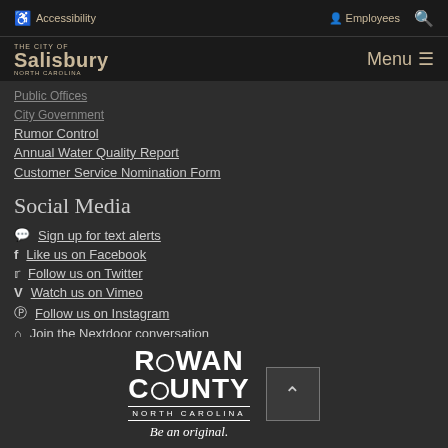Accessibility  Employees  Search
The City of Salisbury  Menu
Public Offices
City Government
Rumor Control
Annual Water Quality Report
Customer Service Nomination Form
Social Media
Sign up for text alerts
Like us on Facebook
Follow us on Twitter
Watch us on Vimeo
Follow us on Instagram
Join the Nextdoor conversation
[Figure (logo): Rowan County, North Carolina — Be an original. logo with back-to-top button]